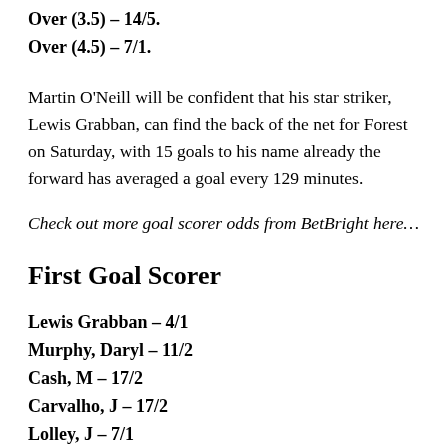Over (2.5) – 11/10.
Over (3.5) – 14/5.
Over (4.5) – 7/1.
Martin O'Neill will be confident that his star striker, Lewis Grabban, can find the back of the net for Forest on Saturday, with 15 goals to his name already the forward has averaged a goal every 129 minutes.
Check out more goal scorer odds from BetBright here…
First Goal Scorer
Lewis Grabban – 4/1
Murphy, Daryl – 11/2
Cash, M – 17/2
Carvalho, J – 17/2
Lolley, J – 7/1